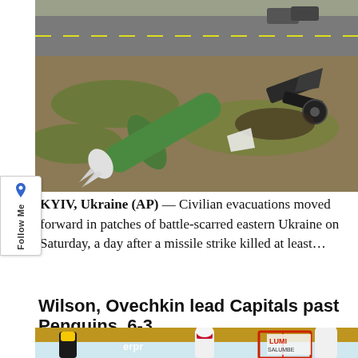[Figure (photo): Wrecked missile or rocket lying on a road or roadside in Ukraine, the green cylindrical body with white fins visible, surrounded by debris and scorched earth. A vehicle is visible in the background on the road.]
KYIV, Ukraine (AP) — Civilian evacuations moved forward in patches of battle-scarred eastern Ukraine on Saturday, a day after a missile strike killed at least…
Wilson, Ovechkin lead Capitals past Penguins, 6-3
[Figure (photo): Ice hockey game scene with Pittsburgh Penguins players in black and yellow jerseys and Washington Capitals players in white jerseys. A red goal net is visible. Crowd in the background. Arena sponsor signage reads 'LUMIS SALUMBE' (partial). Jersey numbers visible include 92 and others.]